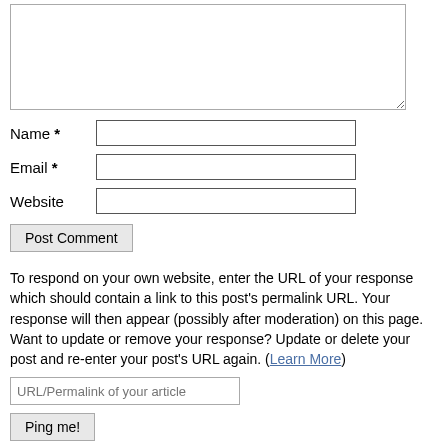[Figure (screenshot): Textarea form field (comment box) with resize handle]
Name *
Email *
Website
Post Comment
To respond on your own website, enter the URL of your response which should contain a link to this post's permalink URL. Your response will then appear (possibly after moderation) on this page. Want to update or remove your response? Update or delete your post and re-enter your post's URL again. (Learn More)
URL/Permalink of your article
Ping me!